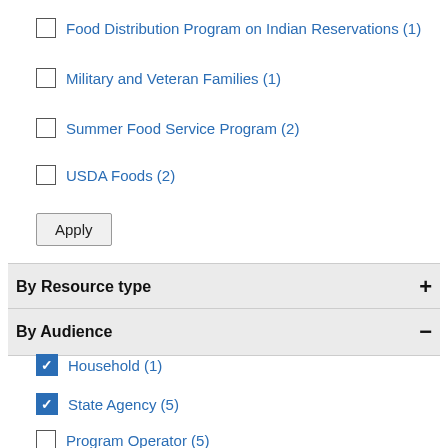Food Distribution Program on Indian Reservations (1)
Military and Veteran Families (1)
Summer Food Service Program (2)
USDA Foods (2)
Apply
By Resource type +
By Audience −
Household (1)
State Agency (5)
Program Operator (5)